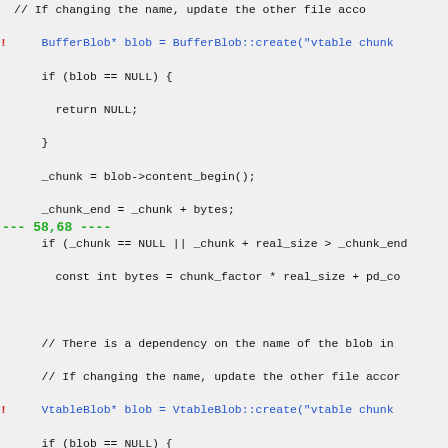// If changing the name, update the other file accordingly
! BufferBlob* blob = BufferBlob::create("vtable chunk
  if (blob == NULL) {
    return NULL;
  }
  _chunk = blob->content_begin();
  _chunk_end = _chunk + bytes;
--- 58,68 ----
  if (_chunk == NULL || _chunk + real_size > _chunk_end
    const int bytes = chunk_factor * real_size + pd_code

  // There is a dependency on the name of the blob in
  // If changing the name, update the other file accordingly
! VtableBlob* blob = VtableBlob::create("vtable chunk
  if (blob == NULL) {
    return NULL;
  }
  _chunk = blob->content_begin();
  _chunk_end = _chunk + bytes;
*** 165,185 ****
  s->set_next(_table[h]);
  _table[h] = s;
  _number_of_vtable_stubs++;
}

!
! bool VtableStubs::is_entry_point(address pc) {
    MutexLocker ml(VtableStubs_lock);
    VtableStub* stub = (VtableStub*)(pc - VtableStub::entry